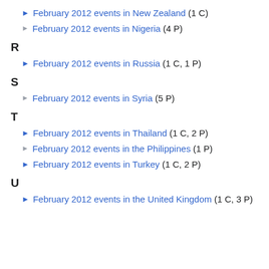February 2012 events in New Zealand (1 C)
February 2012 events in Nigeria (4 P)
R
February 2012 events in Russia (1 C, 1 P)
S
February 2012 events in Syria (5 P)
T
February 2012 events in Thailand (1 C, 2 P)
February 2012 events in the Philippines (1 P)
February 2012 events in Turkey (1 C, 2 P)
U
February 2012 events in the United Kingdom (1 C, 3 P)